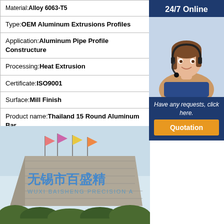| Material: | Alloy 6063-T5 |
| Type: | OEM Aluminum Extrusions Profiles |
| Application: | Aluminum Pipe Profile Constructure |
| Processing: | Heat Extrusion |
| Certificate: | ISO9001 |
| Surface: | Mill Finish |
| Product name: | Thailand 15 Round Aluminum Bar |
[Figure (photo): Exterior photo of Wuxi Baisheng Precision manufacturing facility building with Chinese characters and flags]
24/7 Online
Have any requests, click here.
Quotation